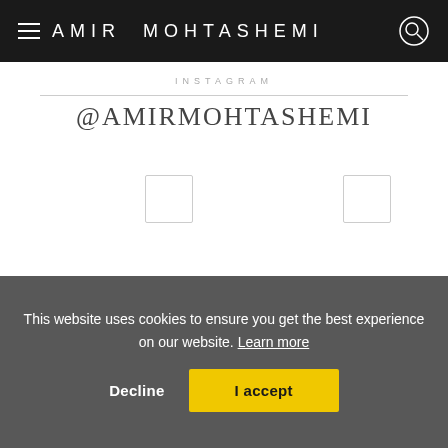AMIR MOHTASHEMI
INSTAGRAM
@AMIRMOHTASHEMI
[Figure (photo): Two small image placeholder boxes (loading images) on the Instagram section]
This website uses cookies to ensure you get the best experience on our website. Learn more
Decline  I accept